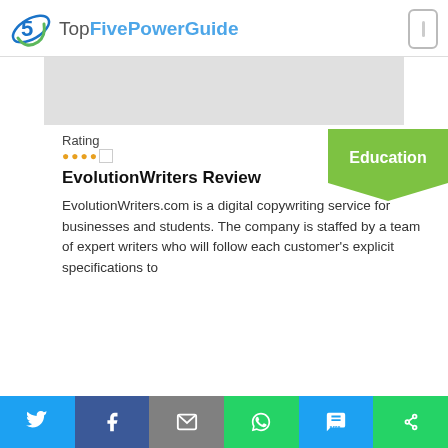Top Five Power Guide
[Figure (other): Gray advertisement banner placeholder]
Rating
[Figure (other): Star rating display with 4 orange dots/stars]
[Figure (other): Green Education badge/label]
EvolutionWriters Review
EvolutionWriters.com is a digital copywriting service for businesses and students. The company is staffed by a team of expert writers who will follow each customer's explicit specifications to
[Figure (other): Social share bar with Twitter, Facebook, Email, WhatsApp, SMS, and share buttons]